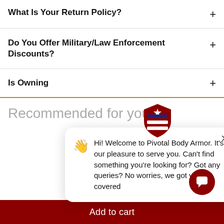What Is Your Return Policy?
Do You Offer Military/Law Enforcement Discounts?
Is Owning
Hi! Welcome to Pivotal Body Armor. It's our pleasure to serve you. Can't find something you're looking for? Got any queries? No worries, we got you covered
Recommended for you
Add to cart